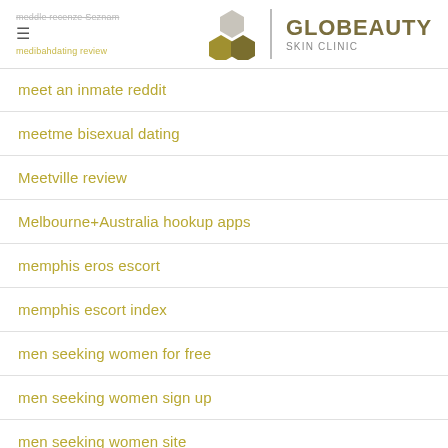meddle recenze Seznam | GLOBEAUTY SKIN CLINIC | medioaldating review
meet an inmate reddit
meetme bisexual dating
Meetville review
Melbourne+Australia hookup apps
memphis eros escort
memphis escort index
men seeking women for free
men seeking women sign up
men seeking women site
menchats es review